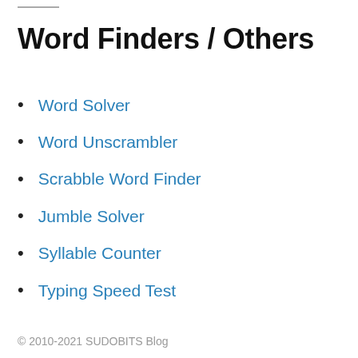Word Finders / Others
Word Solver
Word Unscrambler
Scrabble Word Finder
Jumble Solver
Syllable Counter
Typing Speed Test
© 2010-2021 SUDOBITS Blog